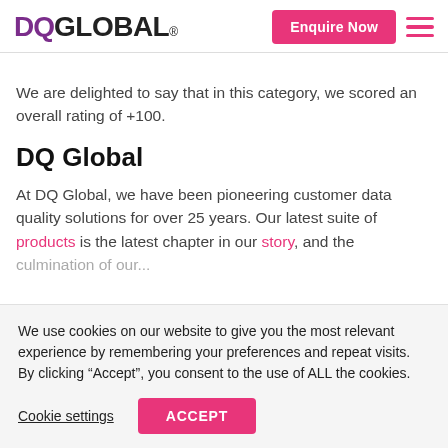DQ GLOBAL® | Enquire Now
We are delighted to say that in this category, we scored an overall rating of +100.
DQ Global
At DQ Global, we have been pioneering customer data quality solutions for over 25 years. Our latest suite of products is the latest chapter in our story, and the culmination of over...
We use cookies on our website to give you the most relevant experience by remembering your preferences and repeat visits. By clicking “Accept”, you consent to the use of ALL the cookies.
Cookie settings | ACCEPT